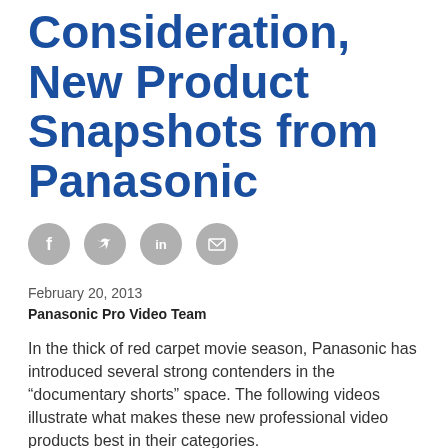Consideration, New Product Snapshots from Panasonic
[Figure (infographic): Four social media sharing icons (Facebook, Twitter, LinkedIn, Email) as gray circles]
February 20, 2013
Panasonic Pro Video Team
In the thick of red carpet movie season, Panasonic has introduced several strong contenders in the “documentary shorts” space. The following videos illustrate what makes these new professional video products best in their categories.
AG-AC90
This full-featured AVCCAM HD handheld